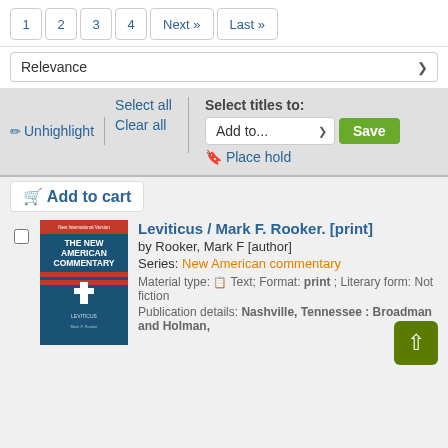1  2  3  4  Next »  Last »
Relevance
✏ Unhighlight | Select all | Clear all | Select titles to: Add to... Save | Place hold
Add to Cart
[Figure (illustration): Book cover for 'The New American Commentary' - Leviticus by Mark F. Rooker. Blue cover with red banner and cross symbol.]
Leviticus / Mark F. Rooker. [print]
by Rooker, Mark F [author]
Series: New American commentary
Material type: Text; Format: print ; Literary form: Not fiction
Publication details: Nashville, Tennessee : Broadman and Holman,